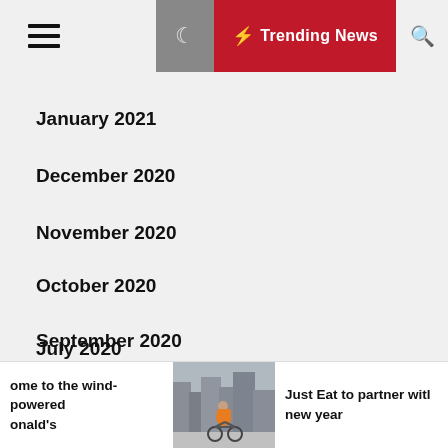Trending News
January 2021
December 2020
November 2020
October 2020
September 2020
August 2020
July 2020
ome to the wind-powered onald's
[Figure (photo): Delivery cyclist on city street carrying orange backpack]
Just Eat to partner witl new year